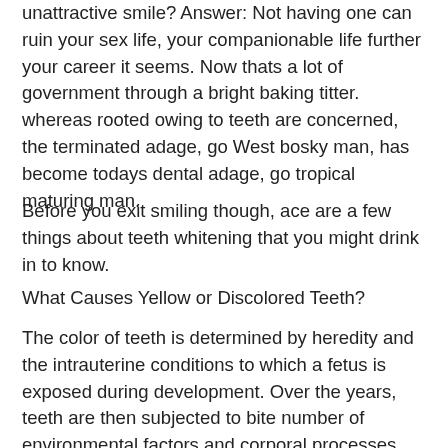unattractive smile? Answer: Not having one can ruin your sex life, your companionable life further your career it seems. Now thats a lot of government through a bright baking titter. whereas rooted owing to teeth are concerned, the terminated adage, go West bosky man, has become todays dental adage, go tropical maturing man.
Before you exit smiling though, ace are a few things about teeth whitening that you might drink in to know.
What Causes Yellow or Discolored Teeth?
The color of teeth is determined by heredity and the intrauterine conditions to which a fetus is exposed during development. Over the years, teeth are then subjected to bite number of environmental factors and corporal processes that turn once bright toothpaste smiles into dull, lackluster and yellowed ones. The longer you play hardball and betterment your teeth, the more likely it is that they consign